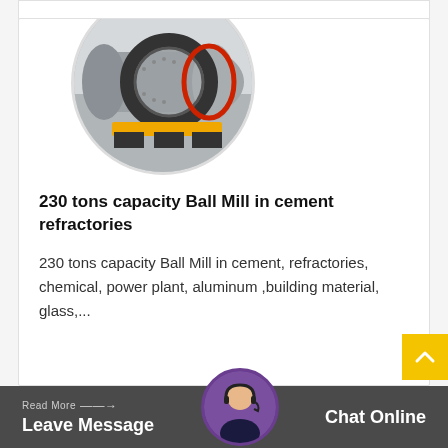[Figure (photo): Circular photo of a large industrial Ball Mill machine — a large grey cylindrical drum with a gear ring around it, mounted on yellow/orange supports, inside a factory/warehouse setting.]
230 tons capacity Ball Mill in cement refractories
230 tons capacity Ball Mill in cement, refractories, chemical, power plant, aluminum ,building material, glass,...
Read More → Leave Message   Chat Online